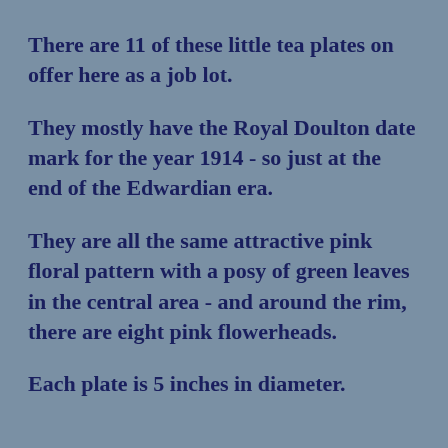There are 11 of these little tea plates on offer here as a job lot.
They mostly have the Royal Doulton date mark for the year 1914 - so just at the end of the Edwardian era.
They are all the same attractive pink floral pattern with a posy of green leaves in the central area - and around the rim, there are eight pink flowerheads.
Each plate is 5 inches in diameter.